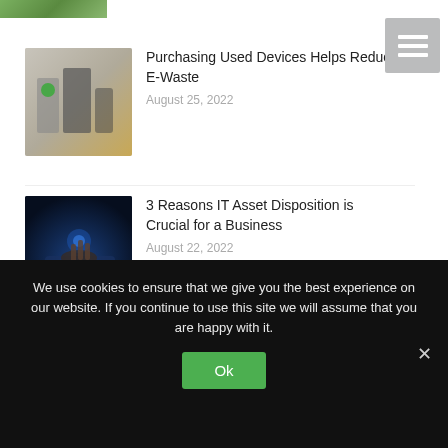[Figure (photo): Partial top image of green plant/nature scene, cropped]
[Figure (other): Hamburger menu icon button with three horizontal white lines on a gray background]
[Figure (photo): Thumbnail showing used electronic devices including appliances/printer on a light background]
Purchasing Used Devices Helps Reduce E-Waste
August 25, 2022
[Figure (photo): Thumbnail showing hands working on glowing digital/tech interface in dark blue tones]
3 Reasons IT Asset Disposition is Crucial for a Business
August 22, 2022
[Figure (photo): Thumbnail showing small glowing green plant sprout in dark digital environment]
HOBI Weekly Blog Recap (8/15-18/22)
August 19, 2022
We use cookies to ensure that we give you the best experience on our website. If you continue to use this site we will assume that you are happy with it.